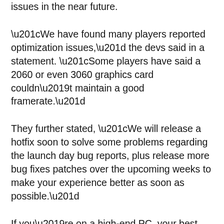issues in the near future.
“We have found many players reported optimization issues,” the devs said in a statement. “Some players have said a 2060 or even 3060 graphics card couldn’t maintain a good framerate.”
They further stated, “We will release a hotfix soon to solve some problems regarding the launch day bug reports, plus release more bug fixes patches over the upcoming weeks to make your experience better as soon as possible.”
If you’re on a high-end PC, your best bet is to wait till the developers release a fix for the performance issues within the next few days.